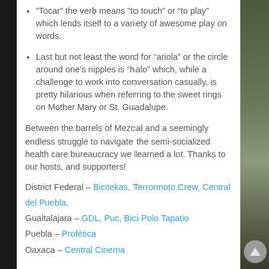“Tocar” the verb means “to touch” or “to play” which lends itself to a variety of awesome play on words.
Last but not least the word for “ariola” or the circle around one’s nipples is “halo” which, while a challenge to work into conversation casually, is pretty hilarious when referring to the sweet rings on Mother Mary or St. Guadalupe.
Between the barrels of Mezcal and a seemingly endless struggle to navigate the semi-socialized health care bureaucracy we learned a lot. Thanks to our hosts, and supporters!
District Federal – Bicitekas, Terrormoto Crew, Central del Puebla,
Gualtalajara – GDL, Puc, Bici Polo Tapatio
Puebla – Profética
Oaxaca – Central Cinema